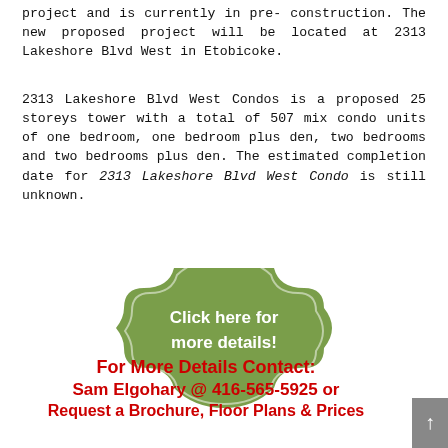project and is currently in pre- construction. The new proposed project will be located at 2313 Lakeshore Blvd West in Etobicoke.
2313 Lakeshore Blvd West Condos is a proposed 25 storeys tower with a total of 507 mix condo units of one bedroom, one bedroom plus den, two bedrooms and two bedrooms plus den. The estimated completion date for 2313 Lakeshore Blvd West Condo is still unknown.
[Figure (other): Green ornamental badge/button with white text reading 'Click here for more details!']
For More Details Contact:
Sam Elgohary @ 416-565-5925 or
Request a Brochure, Floor Plans & Prices